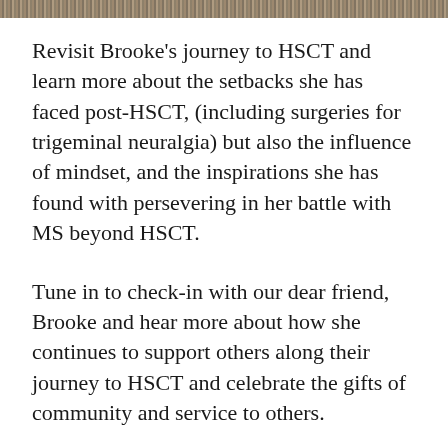[decorative header bar]
Revisit Brooke's journey to HSCT and learn more about the setbacks she has faced post-HSCT, (including surgeries for trigeminal neuralgia) but also the influence of mindset, and the inspirations she has found with persevering in her battle with MS beyond HSCT.
Tune in to check-in with our dear friend, Brooke and hear more about how she continues to support others along their journey to HSCT and celebrate the gifts of community and service to others.
Be sure to visit our website, HSCTHeroes.Podbean.com and